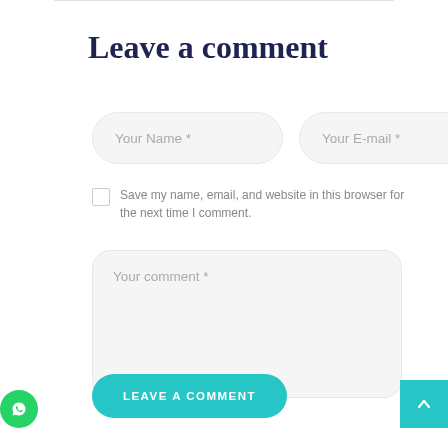Leave a comment
[Figure (other): Form input field placeholder: Your Name *]
[Figure (other): Form input field placeholder: Your E-mail *]
Save my name, email, and website in this browser for the next time I comment.
[Figure (other): Textarea placeholder: Your comment *]
LEAVE A COMMENT
[Figure (other): WhatsApp icon button (green circle)]
[Figure (other): Back to top arrow button (teal square)]